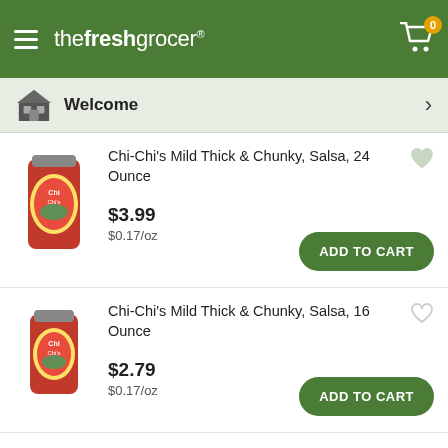the fresh grocer
Welcome
Chi-Chi's Mild Thick & Chunky, Salsa, 24 Ounce
$3.99
$0.17/oz
Chi-Chi's Mild Thick & Chunky, Salsa, 16 Ounce
$2.79
$0.17/oz
Chi-Chi's Mild, Salsa Con Queso, 15.5 Ounce